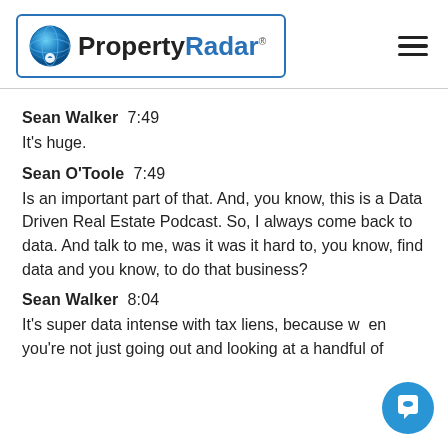PropertyRadar
Sean Walker  7:49
It's huge.
Sean O'Toole  7:49
Is an important part of that. And, you know, this is a Data Driven Real Estate Podcast. So, I always come back to data. And talk to me, was it was it hard to, you know, find data and you know, to do that business?
Sean Walker  8:04
It's super data intense with tax liens, because when you're not just going out and looking at a handful of